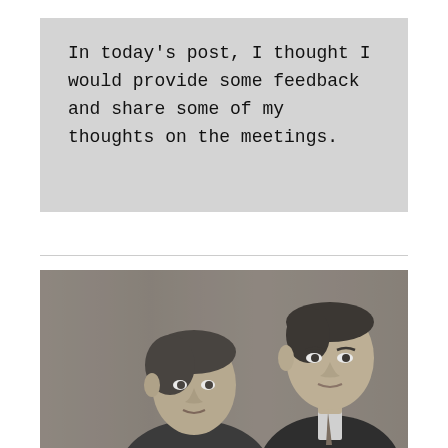In today's post, I thought I would provide some feedback and share some of my thoughts on the meetings.
[Figure (photo): Black and white vintage portrait photograph of two men in suits, one in the foreground left and one in the background right, against a wood-paneled background.]